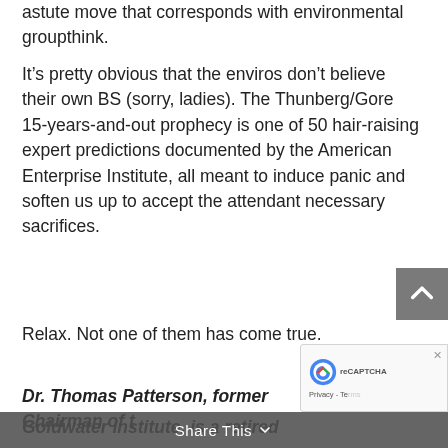astute move that corresponds with environmental groupthink.
It’s pretty obvious that the enviros don’t believe their own BS (sorry, ladies). The Thunberg/Gore 15-years-and-out prophecy is one of 50 hair-raising expert predictions documented by the American Enterprise Institute, all meant to induce panic and soften us up to accept the attendant necessary sacrifices.
Relax. Not one of them has come true.
Dr. Thomas Patterson, former Chairman of the Goldwater Institute, is a retired emergency physician. He served as an Arizona State senator,